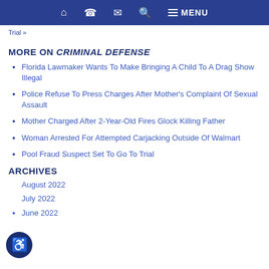Navigation bar with home, phone, email, search, and menu icons
Trial »
MORE ON CRIMINAL DEFENSE
Florida Lawmaker Wants To Make Bringing A Child To A Drag Show Illegal
Police Refuse To Press Charges After Mother's Complaint Of Sexual Assault
Mother Charged After 2-Year-Old Fires Glock Killing Father
Woman Arrested For Attempted Carjacking Outside Of Walmart
Pool Fraud Suspect Set To Go To Trial
ARCHIVES
August 2022
July 2022
June 2022